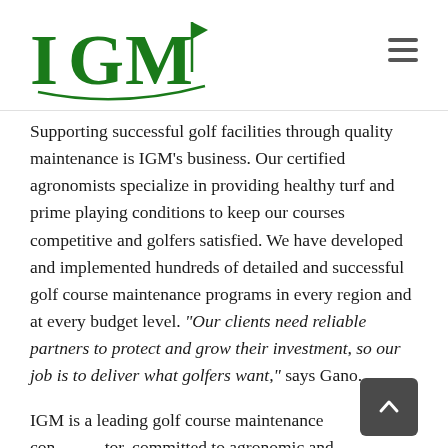IGM logo and navigation
Supporting successful golf facilities through quality maintenance is IGM's business. Our certified agronomists specialize in providing healthy turf and prime playing conditions to keep our courses competitive and golfers satisfied. We have developed and implemented hundreds of detailed and successful golf course maintenance programs in every region and at every budget level. "Our clients need reliable partners to protect and grow their investment, so our job is to deliver what golfers want," says Gano.
IGM is a leading golf course maintenance contractor, committed to agronomic and environmental stewardship. In addition, IGM offers complete course...